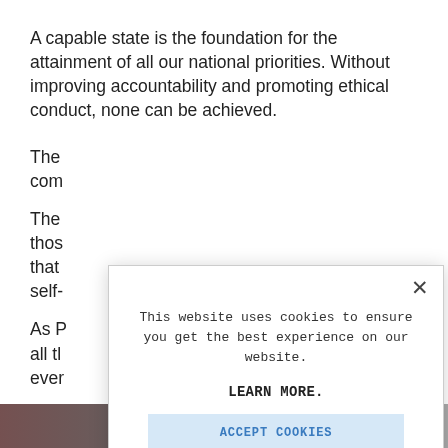A capable state is the foundation for the attainment of all our national priorities. Without improving accountability and promoting ethical conduct, none can be achieved.
The [partially obscured] accountability [partially obscured] com[plete...]
The [partially obscured] thos[e...] that [...]  self-[...]
As P[resident...] all th[e...] ever[y...]
[Figure (screenshot): Cookie consent modal dialog overlaying the page. Contains text: 'This website uses cookies to ensure you get the best experience on our website.' with a 'LEARN MORE.' bold link and an 'ACCEPT COOKIES' button with light blue background. An X close button is in the top-right corner of the modal.]